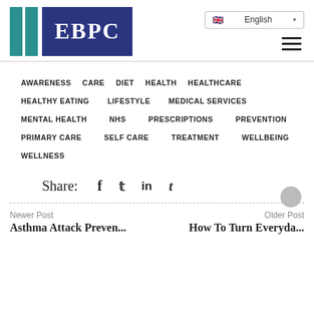[Figure (logo): EBPC logo with two teal vertical bars and dark blue rectangle with white EBPC text]
English
AWARENESS
CARE
DIET
HEALTH
HEALTHCARE
HEALTHY EATING
LIFESTYLE
MEDICAL SERVICES
MENTAL HEALTH
NHS
PRESCRIPTIONS
PREVENTION
PRIMARY CARE
SELF CARE
TREATMENT
WELLBEING
WELLNESS
Share:
Newer Post
Asthma Attack Preven...
Older Post
How To Turn Everyda...